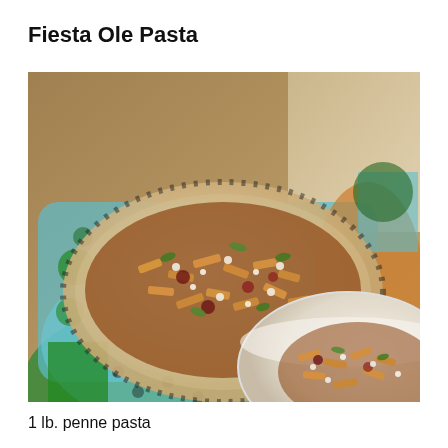Fiesta Ole Pasta
[Figure (photo): A colorful decorative platter and a white bowl, both filled with penne pasta tossed with vegetables, beans, and grated cheese, displayed on a wooden table surface.]
1 lb. penne pasta